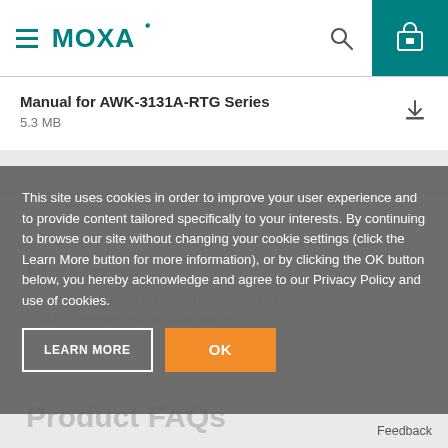MOXA
Manual for AWK-3131A-RTG Series
5.3 MB
This site uses cookies in order to improve your user experience and to provide content tailored specifically to your interests. By continuing to browse our site without changing your cookie settings (click the Learn More button for more information), or by clicking the OK button below, you hereby acknowledge and agree to our Privacy Policy and use of cookies.
LEARN MORE
OK
Feedback